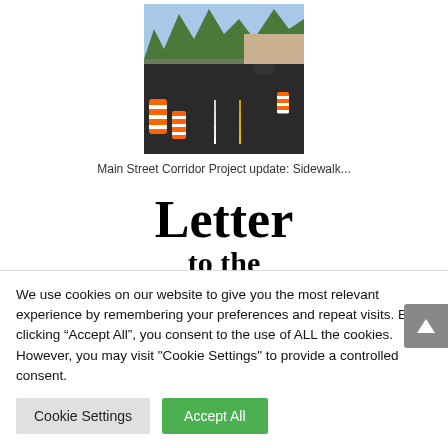[Figure (photo): Street construction photo showing freshly paved dark road with orange barrels/cones on the left side, a car in the background, trees and buildings visible, taken during a road corridor project.]
Main Street Corridor Project update: Sidewalk...
Letter
to the
We use cookies on our website to give you the most relevant experience by remembering your preferences and repeat visits. By clicking “Accept All”, you consent to the use of ALL the cookies. However, you may visit “Cookie Settings” to provide a controlled consent.